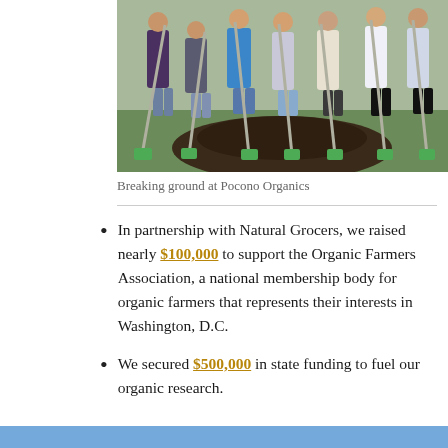[Figure (photo): Group of people standing outdoors holding green-handled shovels with a mound of dark soil in front of them — groundbreaking ceremony at Pocono Organics.]
Breaking ground at Pocono Organics
In partnership with Natural Grocers, we raised nearly $100,000 to support the Organic Farmers Association, a national membership body for organic farmers that represents their interests in Washington, D.C.
We secured $500,000 in state funding to fuel our organic research.